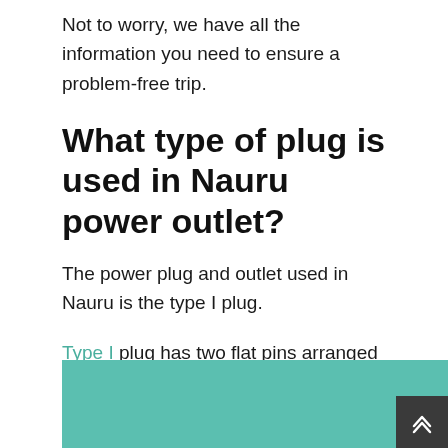Not to worry, we have all the information you need to ensure a problem-free trip.
What type of plug is used in Nauru power outlet?
The power plug and outlet used in Nauru is the type I plug.
Type I plug has two flat pins arranged in a V shape, along with a grounding pin.
[Figure (other): Teal/green colored banner or image box at bottom of page with a dark scroll-to-top button in bottom right corner]